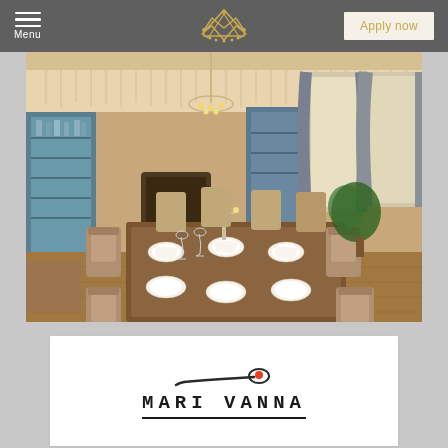Menu | Crown Logo | Apply now
[Figure (photo): Elegant restaurant interior with chandelier, dining tables set with white plates and napkins, wooden chairs, blue cabinet with bottles, tall windows with gray drapes, warm ambient lighting]
[Figure (logo): Mari Vanna restaurant logo — spoon icon with red dot above the text 'Mari Vanna' in handwritten-style bold font with underline]